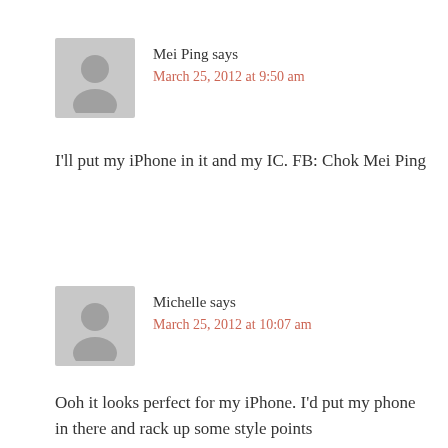Mei Ping says
March 25, 2012 at 9:50 am
I'll put my iPhone in it and my IC. FB: Chok Mei Ping
Michelle says
March 25, 2012 at 10:07 am
Ooh it looks perfect for my iPhone. I'd put my phone in there and rack up some style points